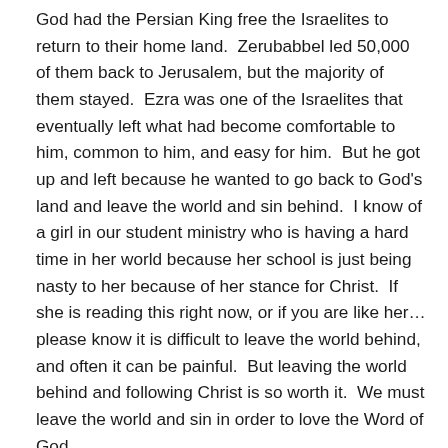God had the Persian King free the Israelites to return to their home land.  Zerubabbel led 50,000 of them back to Jerusalem, but the majority of them stayed.  Ezra was one of the Israelites that eventually left what had become comfortable to him, common to him, and easy for him.  But he got up and left because he wanted to go back to God's land and leave the world and sin behind.  I know of a girl in our student ministry who is having a hard time in her world because her school is just being nasty to her because of her stance for Christ.  If she is reading this right now, or if you are like her…please know it is difficult to leave the world behind, and often it can be painful.  But leaving the world behind and following Christ is so worth it.  We must leave the world and sin in order to love the Word of God.